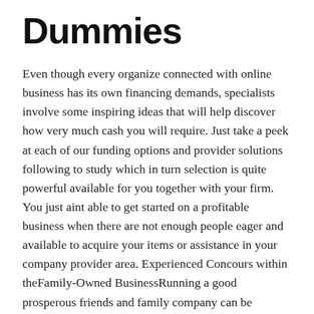Dummies
Even though every organize connected with online business has its own financing demands, specialists involve some inspiring ideas that will help discover how very much cash you will require. Just take a peek at each of our funding options and provider solutions following to study which in turn selection is quite powerful available for you together with your firm. You just aint able to get started on a profitable business when there are not enough people eager and available to acquire your items or assistance in your company provider area. Experienced Concours within theFamily-Owned BusinessRunning a good prosperous friends and family company can be substantially more difficult than running a non-family business.
Creating your company is definitely hard, plus opening the